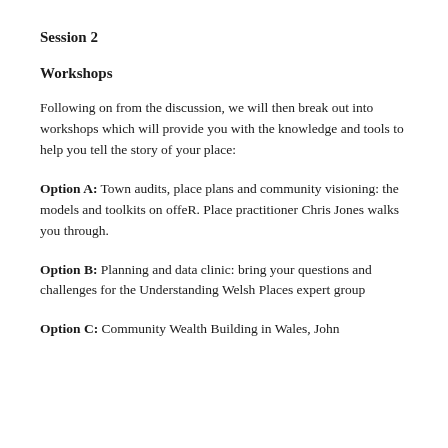Session 2
Workshops
Following on from the discussion, we will then break out into workshops which will provide you with the knowledge and tools to help you tell the story of your place:
Option A: Town audits, place plans and community visioning: the models and toolkits on offeR. Place practitioner Chris Jones walks you through.
Option B: Planning and data clinic: bring your questions and challenges for the Understanding Welsh Places expert group
Option C: Community Wealth Building in Wales, John